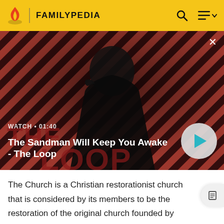FAMILYPEDIA
[Figure (screenshot): Video banner showing a dark-cloaked figure with a raven on shoulder against a red and black diagonal stripe background. Text reads: WATCH • 01:40 / The Sandman Will Keep You Awake - The Loop]
The Church is a Christian restorationist church that is considered by its members to be the restoration of the original church founded by Jesus Christ. The church is headquartered in Salt Lake City, Utah, and has established congregations and built temples worldwide.